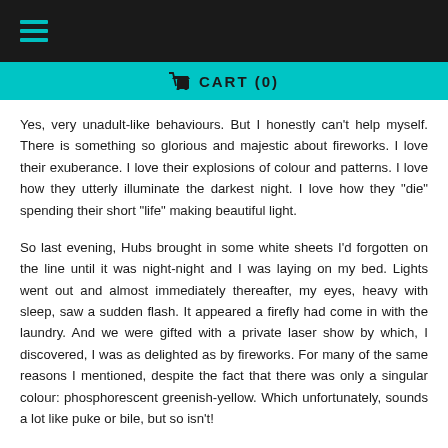☰
🛒 CART (0)
Yes, very unadult-like behaviours. But I honestly can't help myself. There is something so glorious and majestic about fireworks. I love their exuberance. I love their explosions of colour and patterns. I love how they utterly illuminate the darkest night. I love how they "die" spending their short "life" making beautiful light.
So last evening, Hubs brought in some white sheets I'd forgotten on the line until it was night-night and I was laying on my bed. Lights went out and almost immediately thereafter, my eyes, heavy with sleep, saw a sudden flash. It appeared a firefly had come in with the laundry. And we were gifted with a private laser show by which, I discovered, I was as delighted as by fireworks. For many of the same reasons I mentioned, despite the fact that there was only a singular colour: phosphorescent greenish-yellow. Which unfortunately, sounds a lot like puke or bile, but so isn't!